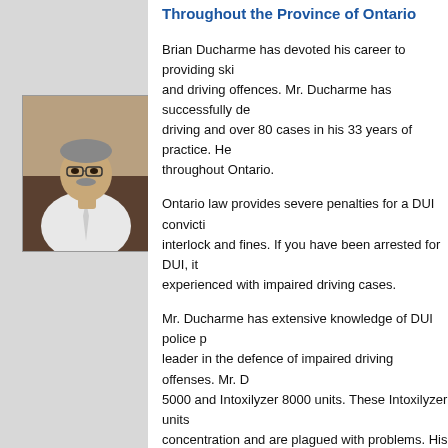Throughout the Province of Ontario
[Figure (photo): Portrait photo of Brian Ducharme, a middle-aged man with glasses and a white shirt, seated at a desk]
Brian Ducharme has devoted his career to providing skilled defence in DUI and driving offences. Mr. Ducharme has successfully defended over 800 cases of impaired driving and over 80 cases in his 33 years of practice. He travels and appears in courts throughout Ontario.
Ontario law provides severe penalties for a DUI conviction, including licence suspension, interlock and fines. If you have been arrested for DUI, it is important to consult a lawyer experienced with impaired driving cases.
Mr. Ducharme has extensive knowledge of DUI police procedures and is a recognized leader in the defence of impaired driving offenses. Mr. Ducharme is an expert in Intoxilyzer 5000 and Intoxilyzer 8000 units. These Intoxilyzer units are used to measure blood alcohol concentration and are plagued with problems. His expertise and training gives him the knowledge to assess the reliability of a particular reading and detect any problems relating to the testing sequence.
OUR DUI LAWYERS CAN HELP
Brian Ducharme represents people charged with DUI...